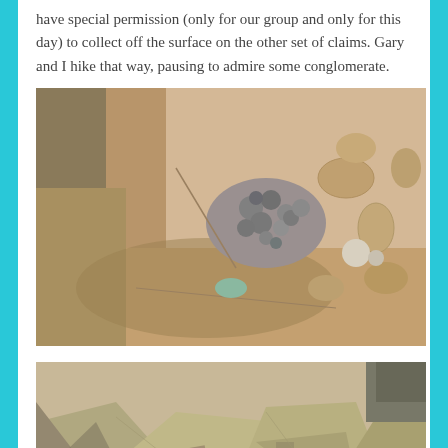have special permission (only for our group and only for this day) to collect off the surface on the other set of claims. Gary and I hike that way, pausing to admire some conglomerate.
[Figure (photo): Close-up photo of conglomerate rock formation with embedded rounded grey pebbles and pitted sandy surface, with a person's hand or leg visible at the left edge.]
[Figure (photo): Photo of rocky terrain with angular sandstone rock slabs and debris, showing geological formations in a desert setting.]